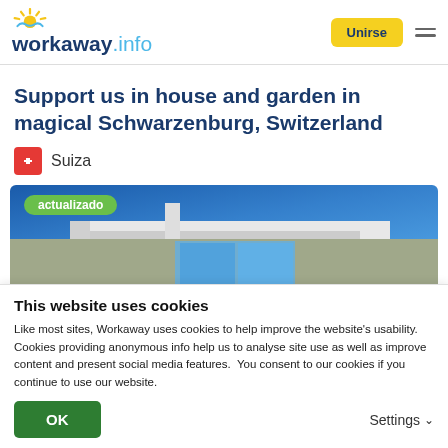workaway.info — Unirse
Support us in house and garden in magical Schwarzenburg, Switzerland
Suiza
[Figure (photo): Photo of a house roofline against a blue sky, with a green 'actualizado' badge overlay]
This website uses cookies
Like most sites, Workaway uses cookies to help improve the website's usability. Cookies providing anonymous info help us to analyse site use as well as improve content and present social media features.  You consent to our cookies if you continue to use our website.
OK
Settings